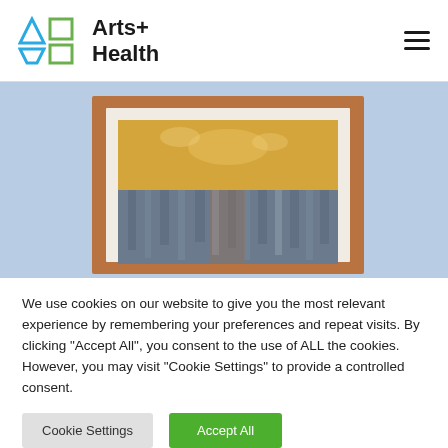Arts+ Health
[Figure (photo): A framed abstract artwork with golden/amber top half and dark blue-grey dripping/textured lower half, hanging on a light blue wall]
We use cookies on our website to give you the most relevant experience by remembering your preferences and repeat visits. By clicking "Accept All", you consent to the use of ALL the cookies. However, you may visit "Cookie Settings" to provide a controlled consent.
Cookie Settings | Accept All